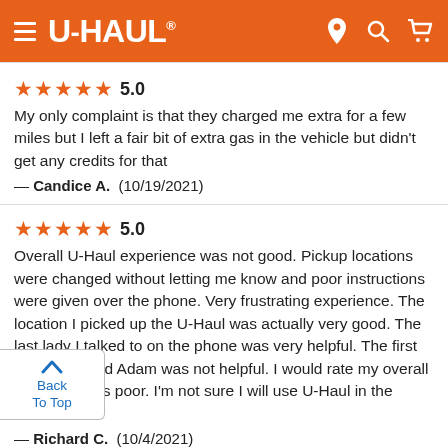U-HAUL
★★★★★ 5.0
My only complaint is that they charged me extra for a few miles but I left a fair bit of extra gas in the vehicle but didn't get any credits for that
— Candice A.  (10/19/2021)
★★★★★ 5.0
Overall U-Haul experience was not good. Pickup locations were changed without letting me know and poor instructions were given over the phone. Very frustrating experience. The location I picked up the U-Haul was actually very good. The last lady I talked to on the phone was very helpful. The first person named Adam was not helpful. I would rate my overall experience as poor. I'm not sure I will use U-Haul in the future.
— Richard C.  (10/4/2021)